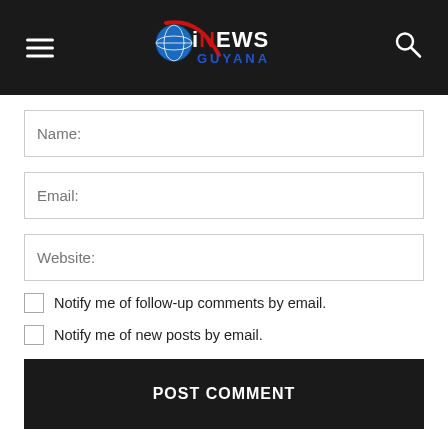iNEWS GUYANA
Name:
Email:
Website:
Notify me of follow-up comments by email.
Notify me of new posts by email.
POST COMMENT
This site uses Akismet to reduce spam. Learn how your comment data is processed.